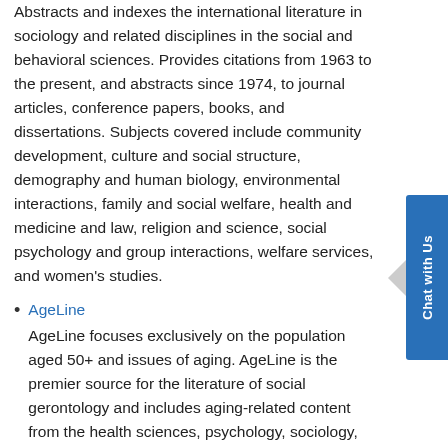Abstracts and indexes the international literature in sociology and related disciplines in the social and behavioral sciences. Provides citations from 1963 to the present, and abstracts since 1974, to journal articles, conference papers, books, and dissertations. Subjects covered include community development, culture and social structure, demography and human biology, environmental interactions, family and social welfare, health and medicine and law, religion and science, social psychology and group interactions, welfare services, and women's studies.
AgeLine — AgeLine focuses exclusively on the population aged 50+ and issues of aging. AgeLine is the premier source for the literature of social gerontology and includes aging-related content from the health sciences, psychology, sociology, social work, economics, and public policy. AgeLine also includes information for professionals working in aging-related fields and for consumers. Original abstracts are generated for every citation, with index terms drawn from